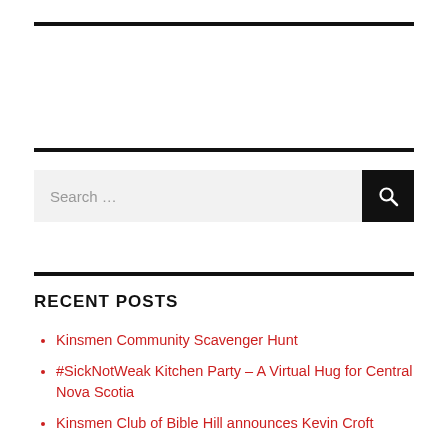[Figure (other): Horizontal black rule at top of page]
[Figure (other): Horizontal black rule below blank space]
Search …
[Figure (other): Horizontal black rule below search box]
RECENT POSTS
Kinsmen Community Scavenger Hunt
#SickNotWeak Kitchen Party – A Virtual Hug for Central Nova Scotia
Kinsmen Club of Bible Hill announces Kevin Croft